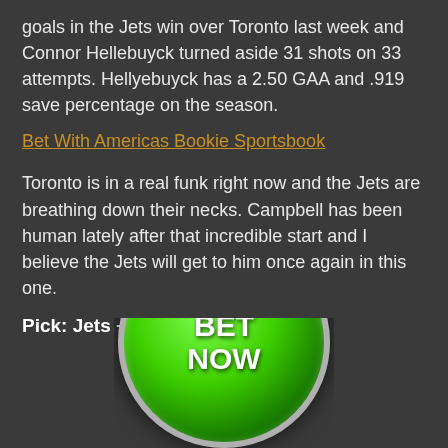goals in the Jets win over Toronto last week and Connor Hellebuyck turned aside 31 shots on 33 attempts. Hellyebuyck has a 2.50 GAA and .919 save percentage on the season.
Bet With Americas Bookie Sportsbook
Toronto is in a real funk right now and the Jets are breathing down their necks. Campbell has been human lately after that incredible start and I believe the Jets will get to him once again in this one.
Pick: Jets +118
[Figure (illustration): A green glossy circular button with metallic silver border and white bold text reading 'BET NOW', partially visible at the bottom of the page.]